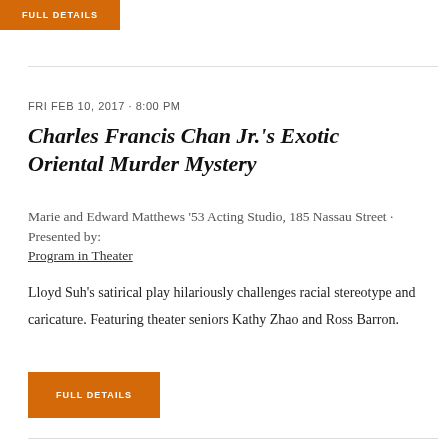FULL DETAILS
FRI FEB 10, 2017 · 8:00 PM
Charles Francis Chan Jr.'s Exotic Oriental Murder Mystery
Marie and Edward Matthews '53 Acting Studio, 185 Nassau Street · Presented by: Program in Theater
Lloyd Suh's satirical play hilariously challenges racial stereotype and caricature. Featuring theater seniors Kathy Zhao and Ross Barron.
FULL DETAILS